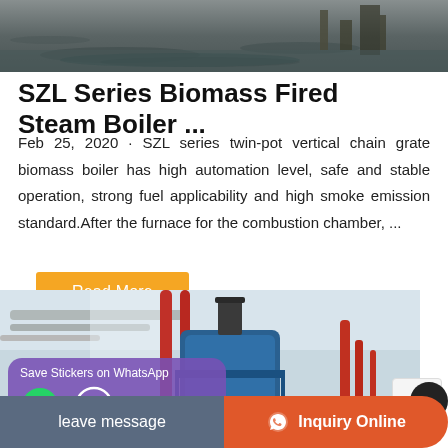[Figure (photo): Top portion of industrial facility or boiler area, dark tones with water reflections and equipment visible]
SZL Series Biomass Fired Steam Boiler ...
Feb 25, 2020 · SZL series twin-pot vertical chain grate biomass boiler has high automation level, safe and stable operation, strong fuel applicability and high smoke emission standard.After the furnace for the combustion chamber, ...
Read More
[Figure (photo): Industrial boiler room with blue cylindrical boiler, red pipes, and overhead piping infrastructure]
Save Stickers on WhatsApp
leave message   Inquiry Online